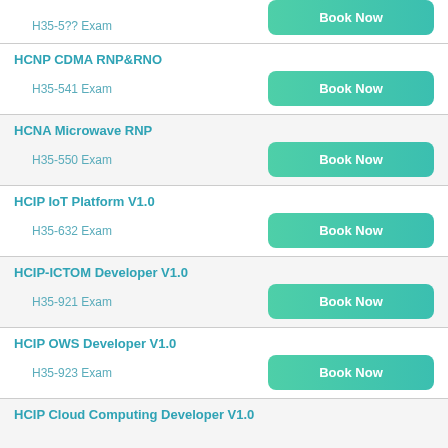H35-5?? Exam — Book Now (partial, top)
HCNP CDMA RNP&RNO
H35-541 Exam
HCNA Microwave RNP
H35-550 Exam
HCIP IoT Platform V1.0
H35-632 Exam
HCIP-ICTOM Developer V1.0
H35-921 Exam
HCIP OWS Developer V1.0
H35-923 Exam
HCIP Cloud Computing Developer V1.0